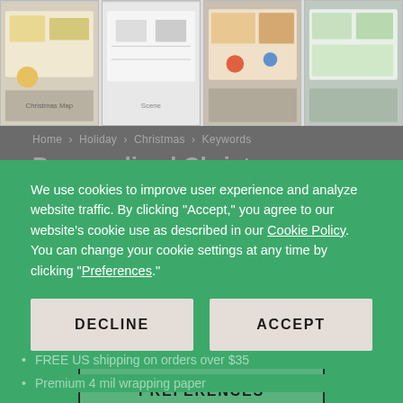[Figure (screenshot): Four product thumbnail images of Christmas wrapping paper in a horizontal strip at the top of the page]
Home  Holiday  Christmas Keywords
Personalized Christmas Snowman...
We use cookies to improve user experience and analyze website traffic. By clicking "Accept," you agree to our website's cookie use as described in our Cookie Policy. You can change your cookie settings at any time by clicking "Preferences."
DECLINE
ACCEPT
PREFERENCES
$9.77 - $39.05
FREE US shipping on orders over $35
Premium 4 mil wrapping paper
Satin finish
Christmas snowman themed
Personalized